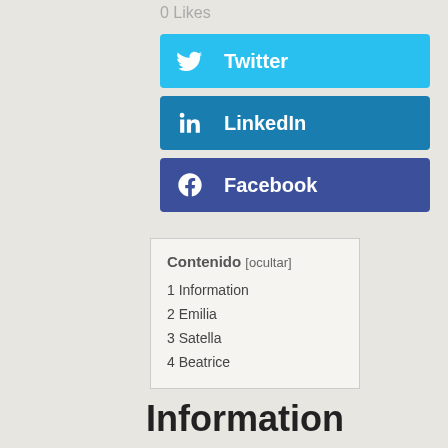0 Likes
[Figure (infographic): Twitter social share button (blue), LinkedIn social share button (dark blue), Facebook social share button (dark navy blue)]
Contenido [ocultar]
1 Information
2 Emilia
3 Satella
4 Beatrice
Information